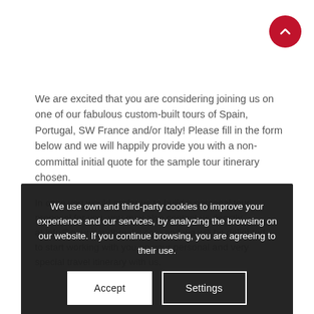[Figure (other): Red circular scroll-to-top button with upward chevron arrow, positioned top-right corner]
We are excited that you are considering joining us on one of our fabulous custom-built tours of Spain, Portugal, SW France and/or Italy! Please fill in the form below and we will happily provide you with a non-committal initial quote for the sample tour itinerary chosen.
In case you would prefer us to build a personal tour proposal for you, you may also contact us directly at info@gourmandbreaks.com and we will be delighted to start working with you on your personal and very special travel itinerary with us.
We use own and third-party cookies to improve your experience and our services, by analyzing the browsing on our website. If you continue browsing, you are agreeing to their use.
Name and surname*